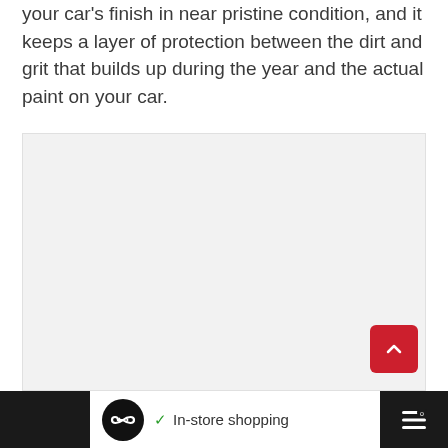your car's finish in near pristine condition, and it keeps a layer of protection between the dirt and grit that builds up during the year and the actual paint on your car.
[Figure (other): Large empty advertisement placeholder area with light gray background]
[Figure (other): Scroll-to-top button: red rounded square with white upward chevron arrow]
[Figure (other): Bottom advertisement bar on dark background showing: close/skip ad buttons, circular black icon with infinity-like logo, checkmark with 'In-store shopping' text, blue diamond navigation icon, and a right-side dark panel with three vertical lines icon]